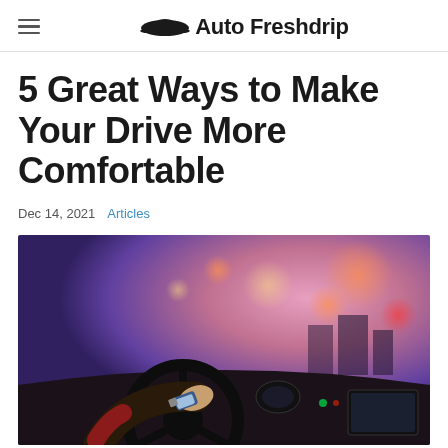Auto Freshdrip
5 Great Ways to Make Your Drive More Comfortable
Dec 14, 2021  Articles
[Figure (photo): Person driving a car, hands on steering wheel wearing a watch and red sweater, with blurred city lights in background at dusk]